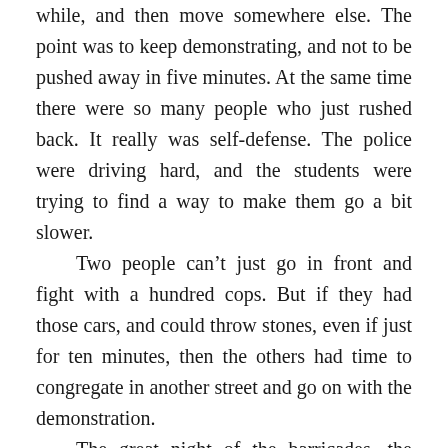while, and then move somewhere else. The point was to keep demonstrating, and not to be pushed away in five minutes. At the same time there were so many people who just rushed back. It really was self-defense. The police were driving hard, and the students were trying to find a way to make them go a bit slower.
    Two people can't just go in front and fight with a hundred cops. But if they had those cars, and could throw stones, even if just for ten minutes, then the others had time to congregate in another street and go on with the demonstration.
    The great night of the barricades, the night of May 10, 11, there were talks on how the